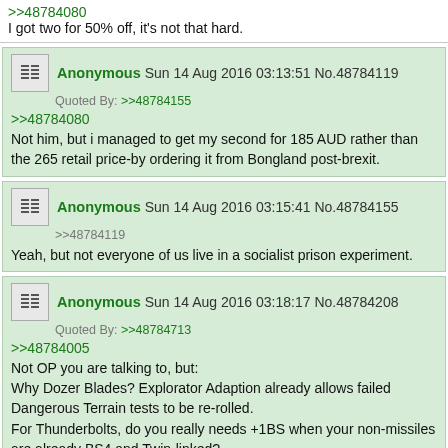>>48784080
I got two for 50% off, it's not that hard.
Anonymous Sun 14 Aug 2016 03:13:51 No.48784119
Quoted By: >>48784155
>>48784080
Not him, but i managed to get my second for 185 AUD rather than the 265 retail price-by ordering it from Bongland post-brexit.
Anonymous Sun 14 Aug 2016 03:15:41 No.48784155
>>48784119
Yeah, but not everyone of us live in a socialist prison experiment.
Anonymous Sun 14 Aug 2016 03:18:17 No.48784208
Quoted By: >>48784713
>>48784005
Not OP you are talking to, but:
Why Dozer Blades? Explorator Adaption already allows failed Dangerous Terrain tests to be re-rolled.
For Thunderbolts, do you really needs +1BS when your non-missiles are already BS4 and Twin-linked?
I'd almost rather see you drop the Malcador Infernus for +1 Veterans in Dracosan. Mostly cause I don't think anything will survive in the open as is. Then again, likely everyone will just camp in cover when playing vs this list, so not sure.